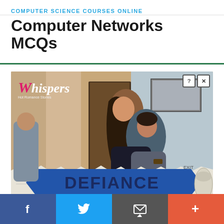COMPUTER SCIENCE COURSES ONLINE
Computer Networks MCQs
[Figure (photo): Advertisement banner for 'Whispers' app showing a romantic couple illustration with the text 'DEFIANCE' on a newspaper-style torn banner at the bottom. Close and help buttons in top-right corner.]
Social sharing bar with Facebook, Twitter, Email, and Plus buttons